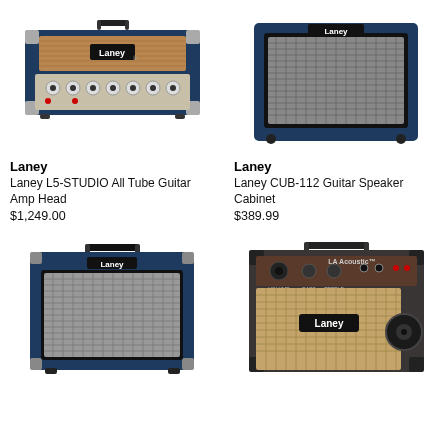[Figure (photo): Laney L5-STUDIO All Tube Guitar Amp Head - navy blue with tan/brown grille cloth and chrome knobs]
Laney
Laney L5-STUDIO All Tube Guitar Amp Head
$1,249.00
[Figure (photo): Laney CUB-112 Guitar Speaker Cabinet - navy blue combo amp with silver grille]
Laney
Laney CUB-112 Guitar Speaker Cabinet
$389.99
[Figure (photo): Laney navy blue combo guitar amplifier with silver grille cloth and black handle]
[Figure (photo): Laney acoustic amplifier in dark brown/grey with tan speaker grille and Laney logo badge]